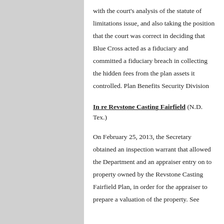with the court's analysis of the statute of limitations issue, and also taking the position that the court was correct in deciding that Blue Cross acted as a fiduciary and committed a fiduciary breach in collecting the hidden fees from the plan assets it controlled. Plan Benefits Security Division
In re Revstone Casting Fairfield (N.D. Tex.)
On February 25, 2013, the Secretary obtained an inspection warrant that allowed the Department and an appraiser entry on to property owned by the Revstone Casting Fairfield Plan, in order for the appraiser to prepare a valuation of the property. See